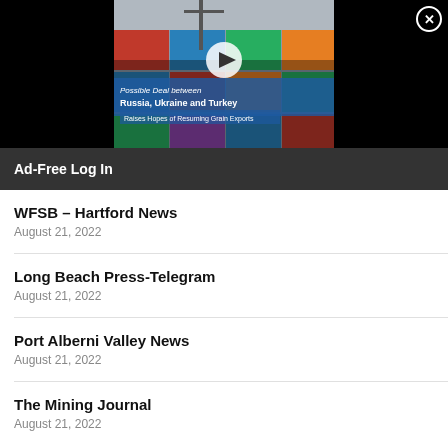[Figure (screenshot): Video thumbnail showing shipping containers with a play button overlay and text: 'Possible Deal between Russia, Ukraine and Turkey - Raises Hopes of Resuming Grain Exports']
Ad-Free Log In
WFSB – Hartford News
August 21, 2022
Long Beach Press-Telegram
August 21, 2022
Port Alberni Valley News
August 21, 2022
The Mining Journal
August 21, 2022